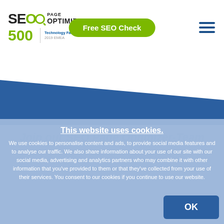[Figure (logo): SEO Page Optimizer logo with magnifying glass icon, green and black text, and Technology Fast 500 2019 EMEA badge]
[Figure (other): Green rounded button: Free SEO Check]
[Figure (other): Hamburger menu icon with three horizontal blue lines]
[Figure (other): Blue diagonal background section with white angled overlay]
Join our SEO Page Optimizer-Team
This website uses cookies.
We use cookies to personalise content and ads, to provide social media features and to analyse our traffic. We also share information about your use of our site with our social media, advertising and analytics partners who may combine it with other information that you've provided to them or that they've collected from your use of their services. You consent to our cookies if you continue to use our website.
[Figure (other): Dark blue OK button in bottom right of cookie banner]